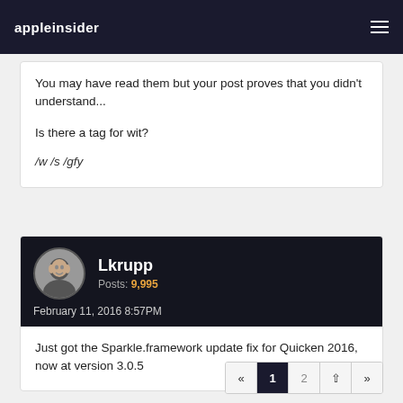appleinsider
You may have read them but your post proves that you didn't understand...

Is there a tag for wit?

/w /s /gfy
Lkrupp
Posts: 9,995
February 11, 2016 8:57PM
Just got the Sparkle.framework update fix for Quicken 2016, now at version 3.0.5
« 1 2 »